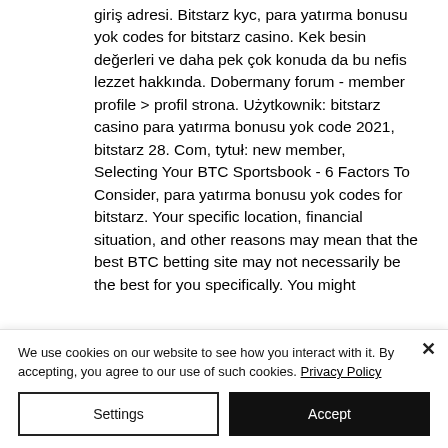giriş adresi. Bitstarz kyc, para yatırma bonusu yok codes for bitstarz casino. Kek besin değerleri ve daha pek çok konuda da bu nefis lezzet hakkında. Dobermany forum - member profile &gt; profil strona. Użytkownik: bitstarz casino para yatırma bonusu yok code 2021, bitstarz 28. Com, tytuł: new member,
Selecting Your BTC Sportsbook - 6 Factors To Consider, para yatırma bonusu yok codes for bitstarz. Your specific location, financial situation, and other reasons may mean that the best BTC betting site may not necessarily be the best for you specifically. You might
We use cookies on our website to see how you interact with it. By accepting, you agree to our use of such cookies. Privacy Policy
Settings
Accept